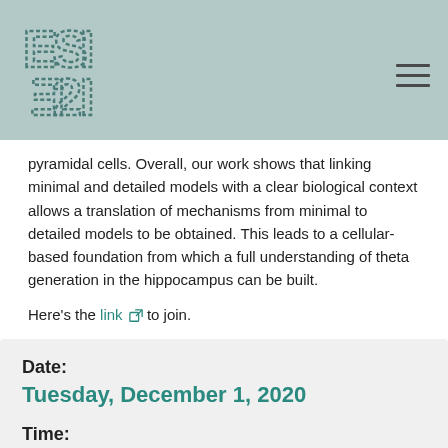[Figure (logo): ESI logo with dashed letter styling on teal/green background header]
pyramidal cells. Overall, our work shows that linking minimal and detailed models with a clear biological context allows a translation of mechanisms from minimal to detailed models to be obtained. This leads to a cellular-based foundation from which a full understanding of theta generation in the hippocampus can be built.
Here's the link to join.
Date:
Tuesday, December 1, 2020
Time:
16:00-17:00